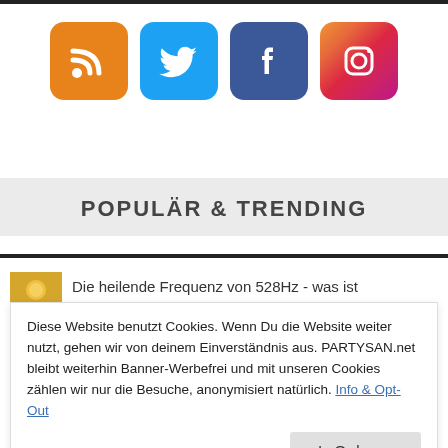[Figure (illustration): Four social media icons in a row: RSS (orange), Twitter (blue), Facebook (dark blue), Instagram (gradient orange-pink-purple)]
POPULÄR & TRENDING
Die heilende Frequenz von 528Hz - was ist
Diese Website benutzt Cookies. Wenn Du die Website weiter nutzt, gehen wir von deinem Einverständnis aus. PARTYSAN.net bleibt weiterhin Banner-Werbefrei und mit unseren Cookies zählen wir nur die Besuche, anonymisiert natürlich. Info & Opt-Out
In Ordnung
GHB + Alkohol = Tatütata. Alles über die Droge